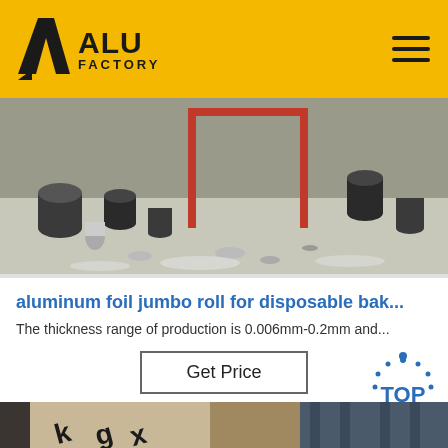ALU FACTORY
[Figure (photo): Factory floor with various aluminum cylinders, rolls, and metal parts scattered on the ground, with a red metal frame structure in the background]
aluminum foil jumbo roll for disposable bak...
The thickness range of production is 0.006mm-0.2mm and...
Get Price
[Figure (photo): Close-up of aluminum foil rolls with markings, partially visible at bottom of page, with a blue TOP button overlay in the corner]